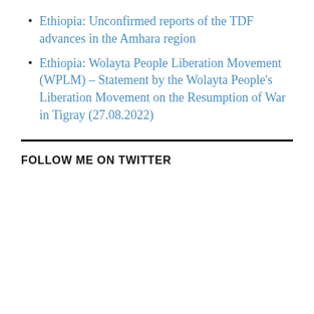Ethiopia: Unconfirmed reports of the TDF advances in the Amhara region
Ethiopia: Wolayta People Liberation Movement (WPLM) – Statement by the Wolayta People's Liberation Movement on the Resumption of War in Tigray (27.08.2022)
FOLLOW ME ON TWITTER